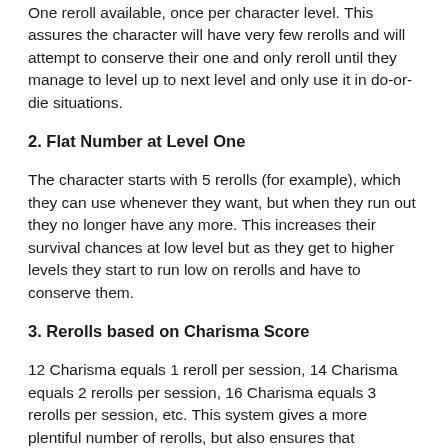One reroll available, once per character level. This assures the character will have very few rerolls and will attempt to conserve their one and only reroll until they manage to level up to next level and only use it in do-or-die situations.
2. Flat Number at Level One
The character starts with 5 rerolls (for example), which they can use whenever they want, but when they run out they no longer have any more. This increases their survival chances at low level but as they get to higher levels they start to run low on rerolls and have to conserve them.
3. Rerolls based on Charisma Score
12 Charisma equals 1 reroll per session, 14 Charisma equals 2 rerolls per session, 16 Charisma equals 3 rerolls per session, etc. This system gives a more plentiful number of rerolls, but also ensures that Charisma is no longer a dump stat for low stat rolls. Suddenly a high Charisma is a very valuable stat and players are encouraged to use it more often and perhaps realize the potential of playing a high Charisma character.